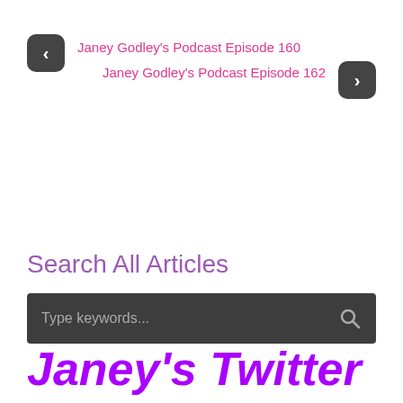‹ Janey Godley's Podcast Episode 160
Janey Godley's Podcast Episode 162 ›
Search All Articles
Type keywords...
Janey's Twitter